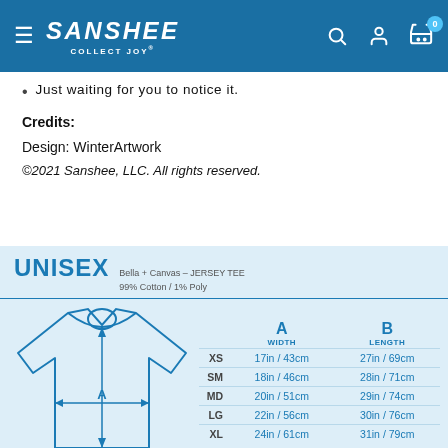SANSHEE COLLECT JOY®
Just waiting for you to notice it.
Credits:
Design: WinterArtwork
©2021 Sanshee, LLC. All rights reserved.
[Figure (infographic): UNISEX Bella + Canvas JERSEY TEE 99% Cotton / 1% Poly sizing chart with a t-shirt diagram showing measurements A (width) and B (length), and a table listing XS through XL sizes with corresponding measurements in inches and centimeters.]
|  | A WIDTH | B LENGTH |
| --- | --- | --- |
| XS | 17in / 43cm | 27in / 69cm |
| SM | 18in / 46cm | 28in / 71cm |
| MD | 20in / 51cm | 29in / 74cm |
| LG | 22in / 56cm | 30in / 76cm |
| XL | 24in / 61cm | 31in / 79cm |